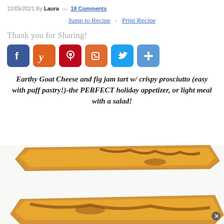12/05/2021 By Laura — 18 Comments
Jump to Recipe · Print Recipe
Thank you for Sharing!
[Figure (infographic): Social sharing buttons: Facebook (blue), Yummly (orange), Pinterest (red), Blogger (orange-red), Twitter (light blue), Plus/More (blue)]
Earthy Goat Cheese and fig jam tart w/ crispy prosciutto (easy with puff pastry!)-the PERFECT holiday appetizer, or light meal with a salad!
[Figure (photo): Close-up photo of a golden puff pastry tart with fig jam and prosciutto, garnished with rosemary sprigs on a white surface.]